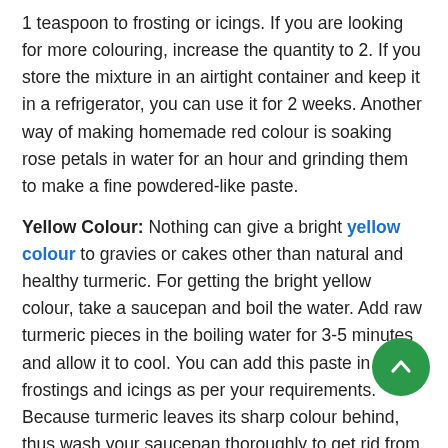1 teaspoon to frosting or icings. If you are looking for more colouring, increase the quantity to 2. If you store the mixture in an airtight container and keep it in a refrigerator, you can use it for 2 weeks. Another way of making homemade red colour is soaking rose petals in water for an hour and grinding them to make a fine powdered-like paste.
Yellow Colour: Nothing can give a bright yellow colour to gravies or cakes other than natural and healthy turmeric. For getting the bright yellow colour, take a saucepan and boil the water. Add raw turmeric pieces in the boiling water for 3-5 minutes and allow it to cool. You can add this paste in frostings and icings as per your requirements. Because turmeric leaves its sharp colour behind, thus wash your saucepan thoroughly to get rid from the bright yellow colour. If you do not like the smell of turmeric, you can shield it by using saffron. Believe it, making food colour powder at home is cost-effective than buying food colour powder online.